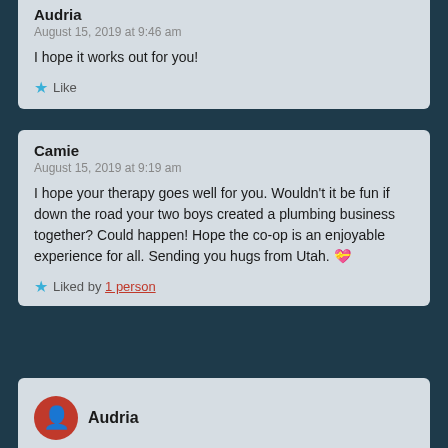Audria
August 15, 2019 at 9:46 am
I hope it works out for you!
★ Like
Camie
August 15, 2019 at 9:19 am
I hope your therapy goes well for you. Wouldn't it be fun if down the road your two boys created a plumbing business together? Could happen! Hope the co-op is an enjoyable experience for all. Sending you hugs from Utah. 💝
★ Liked by 1 person
Audria